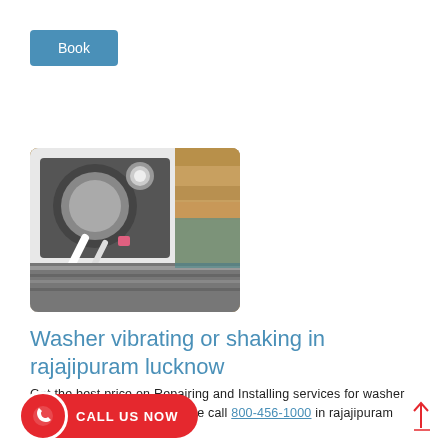Book
[Figure (photo): Disassembled washing machine showing internal components including drum, hoses, and mechanical parts on a wooden floor]
Washer vibrating or shaking in rajajipuram lucknow
Get the best price on Repairing and Installing services for washer dryers in your areas.just a one call 800-456-1000 in rajajipuram lucknow.
CALL US NOW